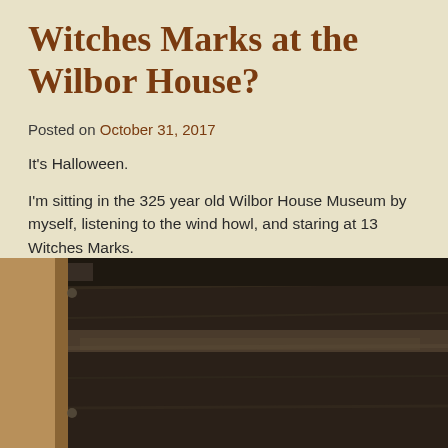Witches Marks at the Wilbor House?
Posted on October 31, 2017
It's Halloween.
I'm sitting in the 325 year old Wilbor House Museum by myself, listening to the wind howl, and staring at 13 Witches Marks.
[Figure (photo): Close-up photograph of dark wooden beams or door, showing aged black-painted wood with grain texture and metal hardware, with warm brown framing visible on the left side.]